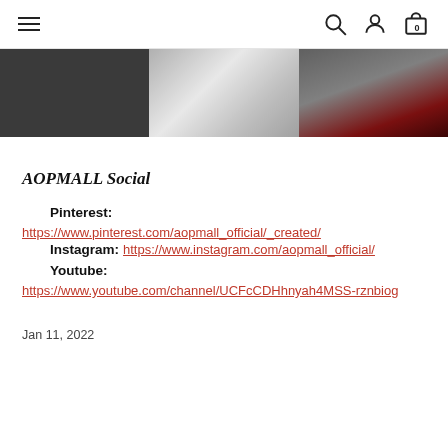Navigation bar with hamburger menu, search, account, and cart icons
[Figure (photo): Three-panel image strip: dark gray panel, light silver/gradient panel, dark panel with red accent]
AOPMALL Social
Pinterest:
https://www.pinterest.com/aopmall_official/_created/
Instagram: https://www.instagram.com/aopmall_official/
Youtube:
https://www.youtube.com/channel/UCFcCDHhnyah4MSS-rznbiog
Jan 11, 2022